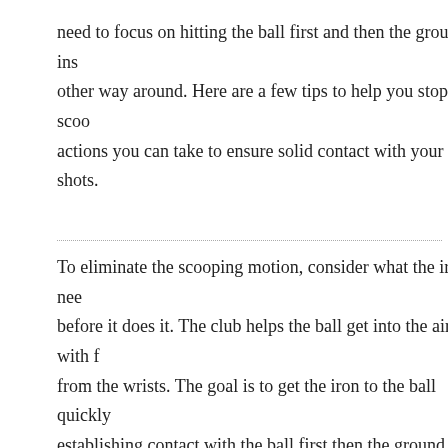need to focus on hitting the ball first and then the ground, ins other way around. Here are a few tips to help you stop scoo actions you can take to ensure solid contact with your shots.
To eliminate the scooping motion, consider what the iron nee before it does it. The club helps the ball get into the air with f from the wrists. The goal is to get the iron to the ball quickly establishing contact with the ball first then the ground.
Try not to have iron shaft leaning forward as you swing. This the reason behind why players are not able to hit down on th are several different types of practice drills to help eliminate element will help you develop a solid strategy for your shot a scooping overall.